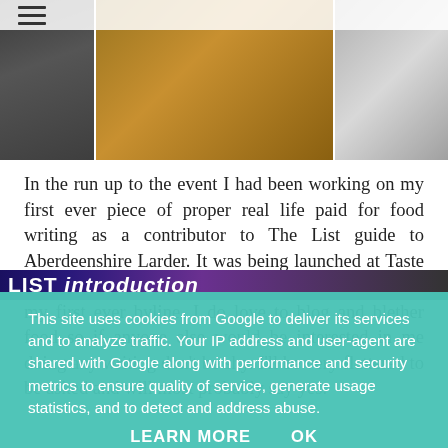[Figure (photo): Three photo thumbnails in a horizontal strip at the top of the page — left: crowd/people in dark tones, center: food/wooden surface in warm brown tones, right: food/light-colored subject]
In the run up to the event I had been working on my first ever piece of proper real life paid for food writing as a contributor to The List guide to Aberdeenshire Larder. It was being launched at Taste of Grampian and it was great to see the end result and my first ever byline. I do love to blog and blether food so if anyone else would be interested in me doing any writing don't be shy. I'll be very flattered to be asked and will most probably say yes.
[Figure (photo): Partial banner image showing 'LIST introduction' text on a dark purple/brown background]
This site uses cookies from Google to deliver its services and to analyze traffic. Your IP address and user-agent are shared with Google along with performance and security metrics to ensure quality of service, generate usage statistics, and to detect and address abuse.
LEARN MORE    OK